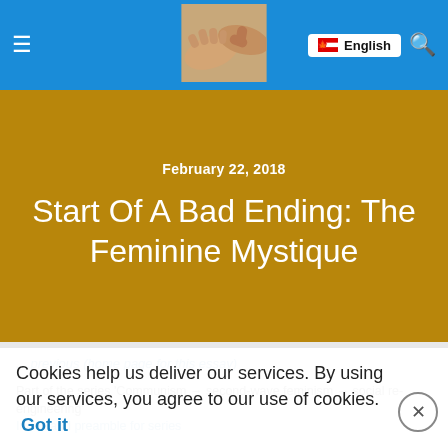≡  [logo image]  English  🔍
February 22, 2018
Start Of A Bad Ending: The Feminine Mystique
....previous (home page for this essay)
Part of the series 'Communism → second-wave feminism → social re-engineering'
Index and preamble for series
Last updated 2018.10.16
'The Feminine Mystique' the start of a bad ending
Cookies help us deliver our services. By using our services, you agree to our use of cookies.  Got it